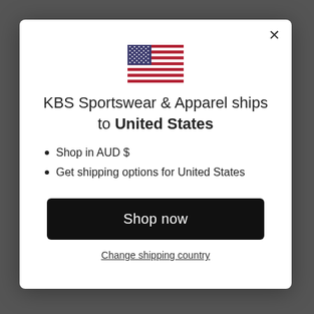[Figure (illustration): US flag emoji/icon centered at top of modal dialog]
KBS Sportswear & Apparel ships to United States
Shop in AUD $
Get shipping options for United States
Shop now
Change shipping country